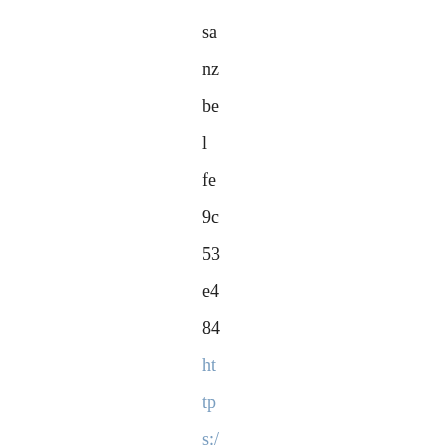sanzbelfe9c53e4 84https://trello.com/c/lROrk05U/50-descarga